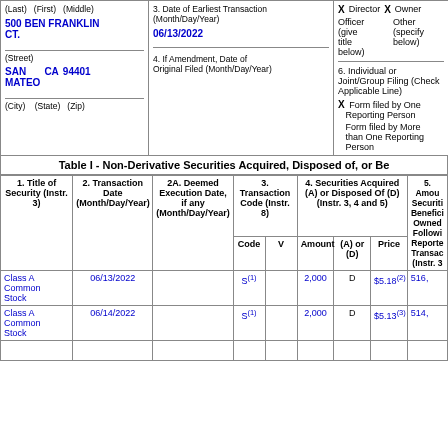(Last) (First) (Middle)
500 BEN FRANKLIN CT.
3. Date of Earliest Transaction (Month/Day/Year)
06/13/2022
Director X Owner
Officer (give title below)
Other (specify below)
(Street)
SAN MATEO CA 94401
4. If Amendment, Date of Original Filed (Month/Day/Year)
6. Individual or Joint/Group Filing (Check Applicable Line)
X Form filed by One Reporting Person
Form filed by More than One Reporting Person
(City) (State) (Zip)
Table I - Non-Derivative Securities Acquired, Disposed of, or Be...
| 1. Title of Security (Instr. 3) | 2. Transaction Date (Month/Day/Year) | 2A. Deemed Execution Date, if any (Month/Day/Year) | 3. Transaction Code (Instr. 8) Code | V | 4. Securities Acquired (A) or Disposed Of (D) (Instr. 3, 4 and 5) Amount | (A) or (D) | Price | 5. Amount of Securities Beneficially Owned Following Reported Transaction(s) (Instr. 3... |
| --- | --- | --- | --- | --- | --- | --- | --- | --- |
| Class A Common Stock | 06/13/2022 |  | S(1) |  | 2,000 | D | $5.18(2) | 516, |
| Class A Common Stock | 06/14/2022 |  | S(1) |  | 2,000 | D | $5.13(3) | 514, |